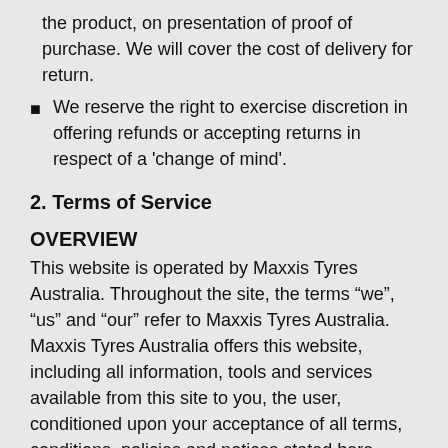the product, on presentation of proof of purchase. We will cover the cost of delivery for return.
We reserve the right to exercise discretion in offering refunds or accepting returns in respect of a 'change of mind'.
2. Terms of Service
OVERVIEW
This website is operated by Maxxis Tyres Australia. Throughout the site, the terms “we”, “us” and “our” refer to Maxxis Tyres Australia. Maxxis Tyres Australia offers this website, including all information, tools and services available from this site to you, the user, conditioned upon your acceptance of all terms, conditions, policies and notices stated here.
By visiting our site and/ or purchasing something from